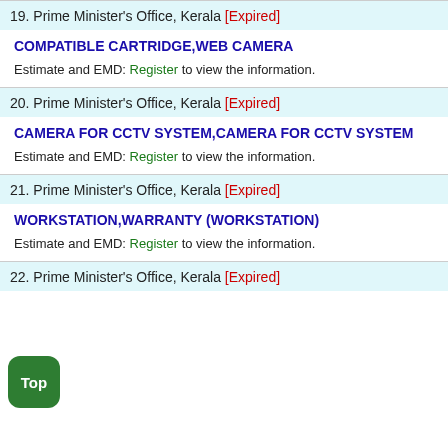19. Prime Minister's Office, Kerala [Expired]
COMPATIBLE CARTRIDGE,WEB CAMERA
Estimate and EMD: Register to view the information.
20. Prime Minister's Office, Kerala [Expired]
CAMERA FOR CCTV SYSTEM,CAMERA FOR CCTV SYSTEM
Estimate and EMD: Register to view the information.
21. Prime Minister's Office, Kerala [Expired]
WORKSTATION,WARRANTY (WORKSTATION)
Estimate and EMD: Register to view the information.
22. Prime Minister's Office, Kerala [Expired]